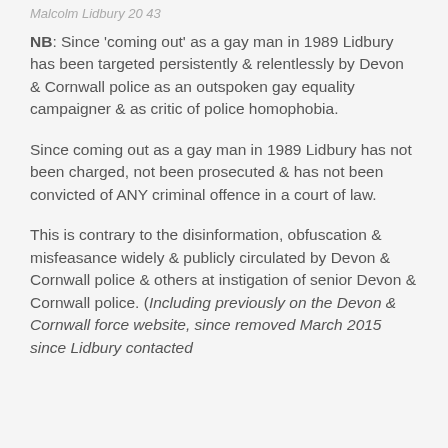Malcolm Lidbury 20 43
NB: Since 'coming out' as a gay man in 1989 Lidbury has been targeted persistently & relentlessly by Devon & Cornwall police as an outspoken gay equality campaigner & as critic of police homophobia.
Since coming out as a gay man in 1989 Lidbury has not been charged, not been prosecuted & has not been convicted of ANY criminal offence in a court of law.
This is contrary to the disinformation, obfuscation & misfeasance widely & publicly circulated by Devon & Cornwall police & others at instigation of senior Devon & Cornwall police. (Including previously on the Devon & Cornwall force website, since removed March 2015 since Lidbury contacted